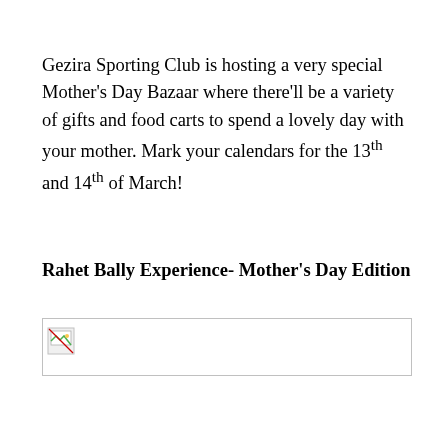Gezira Sporting Club is hosting a very special Mother's Day Bazaar where there'll be a variety of gifts and food carts to spend a lovely day with your mother. Mark your calendars for the 13th and 14th of March!
Rahet Bally Experience- Mother's Day Edition
[Figure (photo): Broken image placeholder with a small green and white image icon in the top-left corner, inside a light grey bordered box.]